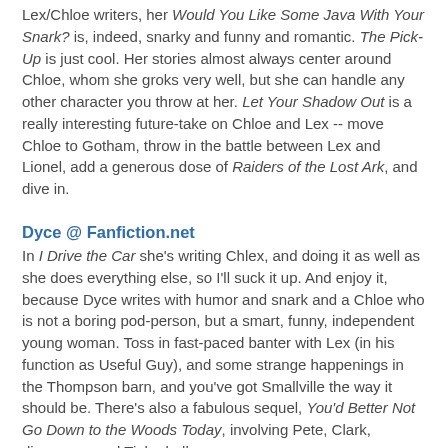Lex/Chloe writers, her Would You Like Some Java With Your Snark? is, indeed, snarky and funny and romantic. The Pick-Up is just cool. Her stories almost always center around Chloe, whom she groks very well, but she can handle any other character you throw at her. Let Your Shadow Out is a really interesting future-take on Chloe and Lex -- move Chloe to Gotham, throw in the battle between Lex and Lionel, add a generous dose of Raiders of the Lost Ark, and dive in.
Dyce @ Fanfiction.net
In I Drive the Car she's writing Chlex, and doing it as well as she does everything else, so I'll suck it up. And enjoy it, because Dyce writes with humor and snark and a Chloe who is not a boring pod-person, but a smart, funny, independent young woman. Toss in fast-paced banter with Lex (in his function as Useful Guy), and some strange happenings in the Thompson barn, and you've got Smallville the way it should be. There's also a fabulous sequel, You'd Better Not Go Down to the Woods Today, involving Pete, Clark, dinosaurs, and Tinkerbell.
Snuffloupagus at Fanfiction.net